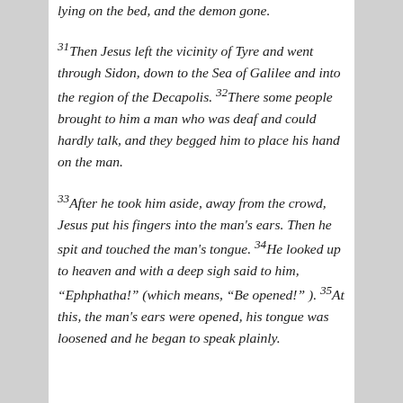lying on the bed, and the demon gone.
31Then Jesus left the vicinity of Tyre and went through Sidon, down to the Sea of Galilee and into the region of the Decapolis. 32There some people brought to him a man who was deaf and could hardly talk, and they begged him to place his hand on the man.
33After he took him aside, away from the crowd, Jesus put his fingers into the man's ears. Then he spit and touched the man's tongue. 34He looked up to heaven and with a deep sigh said to him, “Ephphatha!” (which means, “Be opened!” ). 35At this, the man's ears were opened, his tongue was loosened and he began to speak plainly.